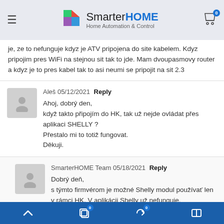SmarterHOME Home Automation & Control
je, ze to nefunguje kdyz je ATV pripojena do site kabelem. Kdyz pripojim pres WiFi na stejnou sit tak to jde. Mam dvoupasmovy router a kdyz je to pres kabel tak to asi neumi se pripojit na sit 2.3
Aleš 05/12/2021 Reply
Ahoj, dobrý den,
když takto připojím do HK, tak už nejde ovládat přes aplikaci SHELLY ?
Přestalo mi to totiž fungovat.
Děkuji.
SmarterHOME Team 05/18/2021 Reply
Dobrý deň,
s týmto firmvérom je možné Shelly modul používať len v rámci HK. V aplikácii Shelly už nefunguje.
Navigation bar with back, cart (0), refresh (0), and columns buttons